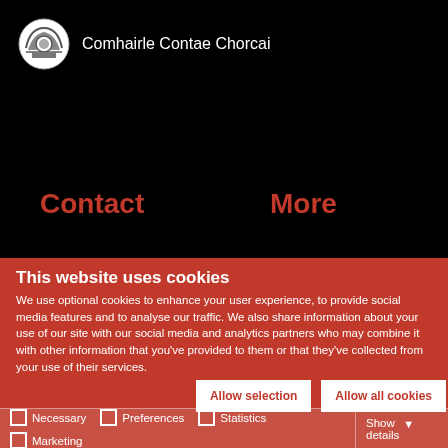Comhairle Contae Chorcai
Contact
More
This website uses cookies
We use optional cookies to enhance your user experience, to provide social media features and to analyse our traffic. We also share information about your use of our site with our social media and analytics partners who may combine it with other information that you've provided to them or that they've collected from your use of their services.
Allow selection | Allow all cookies
Necessary  Preferences  Statistics  Marketing  Show details